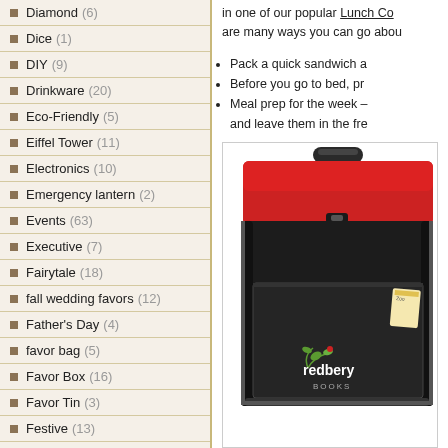Diamond (6)
Dice (1)
DIY (9)
Drinkware (20)
Eco-Friendly (5)
Eiffel Tower (11)
Electronics (10)
Emergency lantern (2)
Events (63)
Executive (7)
Fairytale (18)
fall wedding favors (12)
Father's Day (4)
favor bag (5)
Favor Box (16)
Favor Tin (3)
Festive (13)
Flip Flop (8)
in one of our popular Lunch Co... are many ways you can go abou...
Pack a quick sandwich a...
Before you go to bed, pr...
Meal prep for the week - and leave them in the fre...
[Figure (photo): A black and red lunch bag with handles, featuring a front pocket and a 'redbery BOOKS' logo printed on the front.]